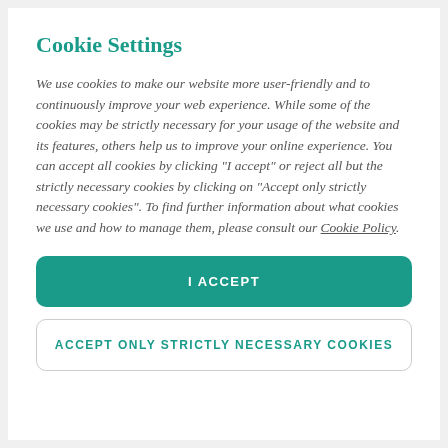Cookie Settings
We use cookies to make our website more user-friendly and to continuously improve your web experience. While some of the cookies may be strictly necessary for your usage of the website and its features, others help us to improve your online experience. You can accept all cookies by clicking "I accept" or reject all but the strictly necessary cookies by clicking on "Accept only strictly necessary cookies". To find further information about what cookies we use and how to manage them, please consult our Cookie Policy.
I ACCEPT
ACCEPT ONLY STRICTLY NECESSARY COOKIES